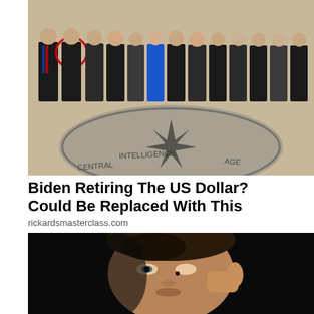[Figure (photo): Group of people in suits standing in front of the CIA seal on the lobby floor of CIA headquarters. One person on the left is circled in red.]
Biden Retiring The US Dollar? Could Be Replaced With This
rickardsmasterclass.com
[Figure (photo): Close-up portrait of a young man with dark hair against a black background, touching near his eye with his finger. He has a small dark mark near his eye.]